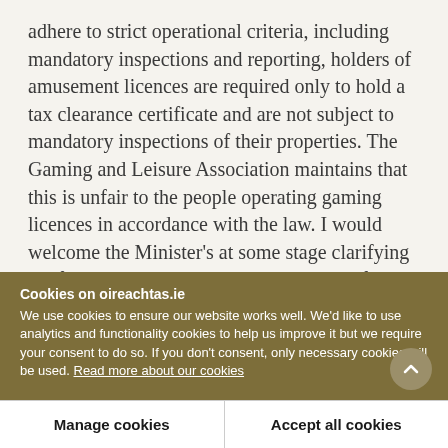adhere to strict operational criteria, including mandatory inspections and reporting, holders of amusement licences are required only to hold a tax clearance certificate and are not subject to mandatory inspections of their properties. The Gaming and Leisure Association maintains that this is unfair to the people operating gaming licences in accordance with the law. I would welcome the Minister's at some stage clarifying the facts surrounding this issue, the role of the Revenue
Cookies on oireachtas.ie
We use cookies to ensure our website works well. We'd like to use analytics and functionality cookies to help us improve it but we require your consent to do so. If you don't consent, only necessary cookies will be used. Read more about our cookies
Manage cookies
Accept all cookies